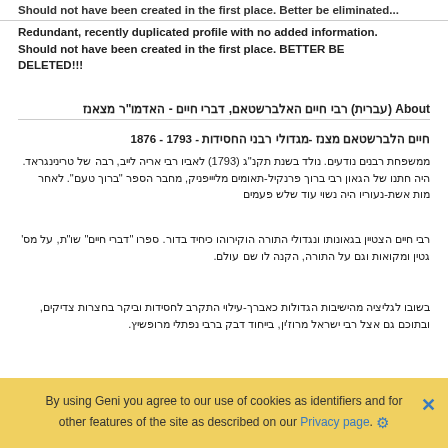Should not have been created in the first place. Better be eliminated...
Redundant, recently duplicated profile with no added information. Should not have been created in the first place. BETTER BE DELETED!!!
About (עברית) רבי חיים האלברשטאם, דברי חיים - האדמו"ר מצאנז
חיים הלברשטאם מצנז -מגדולי רבני החסידות - 1793 - 1876
ממשפחת רבנים נודעים. נולד בשנת תקנ"ג (1793) לאביו רבי אריה לייב, רבה של טרינינגראד. היה חתנו של הגאון רבי ברוך פרנקיל-תאומים מליייפניק, מחבר הספר "ברוך טעם". לאחר מות אשת-נעוריו היה נשוי עוד שלש פעמים
רבי חיים הצטיין בגאונותו ונגדולי התורה הוקירוהו כיחיד בדור. ספרו "דברי חיים" שו"ת, על מס' גטין ומקואות וגם על התורה, הקנה לו שם עולם.
בשובו לגליציה מהישיבות הגדולות כאברך-עילוי התקרב לחסידות וביקר בחצרות צדיקים, ובתוכם גם אצל רבי ישראל מרוז'ין, בייחוד דבק ברבי נפתלי מרופשיץ.
By using Geni you agree to our use of cookies as identifiers and for other features of the site as described on our Privacy page.